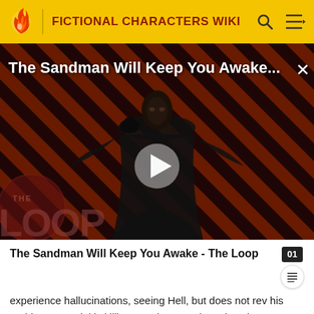FICTIONAL CHARACTERS WIKI
[Figure (screenshot): Video thumbnail showing 'The Sandman Will Keep You Awake...' with a dark-cloaked figure against a diagonal red-and-black striped background, with a play button in the center and THE LOOP watermark in the lower left corner.]
The Sandman Will Keep You Awake - The Loop
experience hallucinations, seeing Hell, but does not rev his problems. Castiel is killing people, Dean has given in to despair, and even Death will only provide a way to reopen Purgatory. When Castiel's very public actions